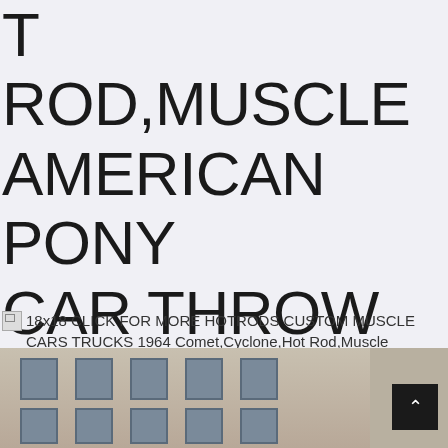T ROD,MUSCLE AMERICAN PONY CAR THROW PILLOW MULTICOLOR
18x18 CLICK FOR MORE HOTRODS CUSTOM MUSCLE CARS TRUCKS 1964 Comet,Cyclone,Hot Rod,Muscle American Pony car Throw Pillow Multicolor
[Figure (photo): Exterior of a building with windows, cropped at bottom of page, with a dark scroll-to-top button overlay in the lower right]